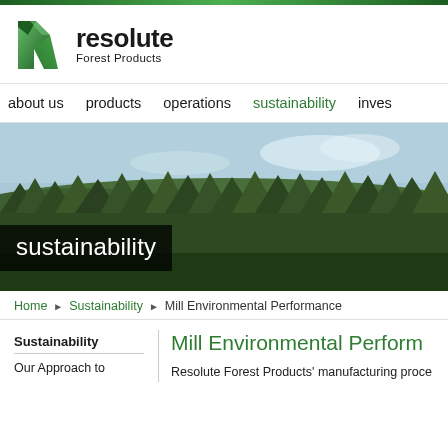[Figure (logo): Resolute Forest Products logo — green stylized R leaf icon with company name]
about us   products   operations   sustainability   inves
[Figure (photo): Aerial landscape photo of boreal forest with rolling forested hills and sky, with 'sustainability' text overlay on dark translucent banner]
Home ▶ Sustainability ▶ Mill Environmental Performance
Sustainability
Our Approach to
Mill Environmental Perform
Resolute Forest Products' manufacturing proce